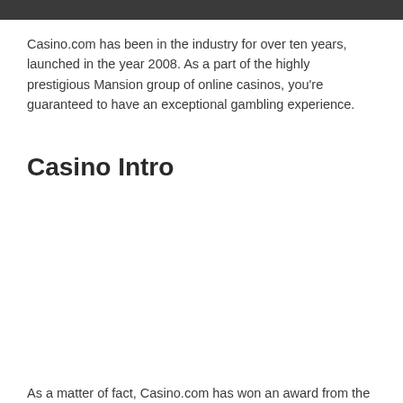Casino.com has been in the industry for over ten years, launched in the year 2008. As a part of the highly prestigious Mansion group of online casinos, you're guaranteed to have an exceptional gambling experience.
Casino Intro
As a matter of fact, Casino.com has won an award from the